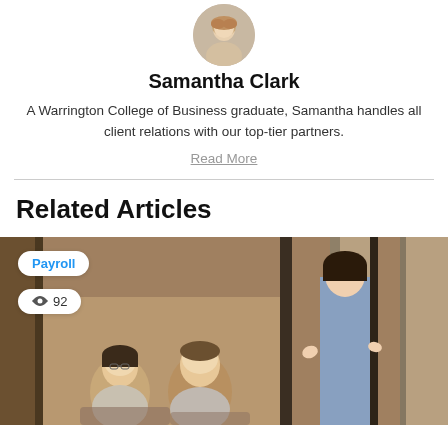[Figure (photo): Circular avatar photo of Samantha Clark, a woman with blonde hair]
Samantha Clark
A Warrington College of Business graduate, Samantha handles all client relations with our top-tier partners.
Read More
Related Articles
[Figure (photo): Photo of a woman in a denim shirt presenting/speaking to two colleagues seated in a modern office or meeting space. Overlaid badges show 'Payroll' category tag and view count of 92.]